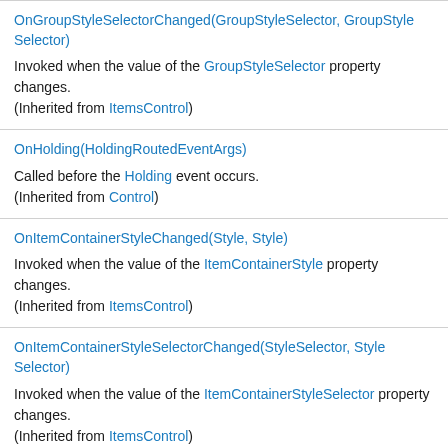OnGroupStyleSelectorChanged(GroupStyleSelector, GroupStyleSelector)
Invoked when the value of the GroupStyleSelector property changes.
(Inherited from ItemsControl)
OnHolding(HoldingRoutedEventArgs)
Called before the Holding event occurs.
(Inherited from Control)
OnItemContainerStyleChanged(Style, Style)
Invoked when the value of the ItemContainerStyle property changes.
(Inherited from ItemsControl)
OnItemContainerStyleSelectorChanged(StyleSelector, StyleSelector)
Invoked when the value of the ItemContainerStyleSelector property changes.
(Inherited from ItemsControl)